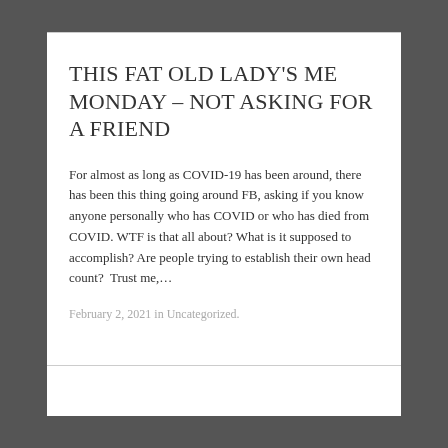THIS FAT OLD LADY'S ME MONDAY – NOT ASKING FOR A FRIEND
For almost as long as COVID-19 has been around, there has been this thing going around FB, asking if you know anyone personally who has COVID or who has died from COVID. WTF is that all about? What is it supposed to accomplish? Are people trying to establish their own head count?  Trust me,…
February 2, 2021 in Uncategorized.